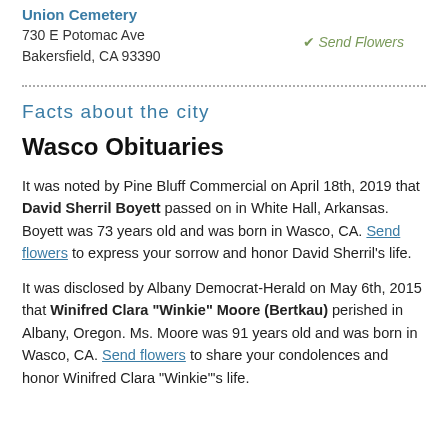Union Cemetery
730 E Potomac Ave
Bakersfield, CA 93390
✔ Send Flowers
Facts about the city
Wasco Obituaries
It was noted by Pine Bluff Commercial on April 18th, 2019 that David Sherril Boyett passed on in White Hall, Arkansas.  Boyett was 73 years old and was born in Wasco, CA.  Send flowers to express your sorrow and honor David Sherril's life.
It was disclosed by Albany Democrat-Herald on May 6th, 2015 that Winifred Clara "Winkie" Moore (Bertkau) perished in Albany, Oregon.  Ms. Moore was 91 years old and was born in Wasco, CA.  Send flowers to share your condolences and honor Winifred Clara "Winkie"'s life.